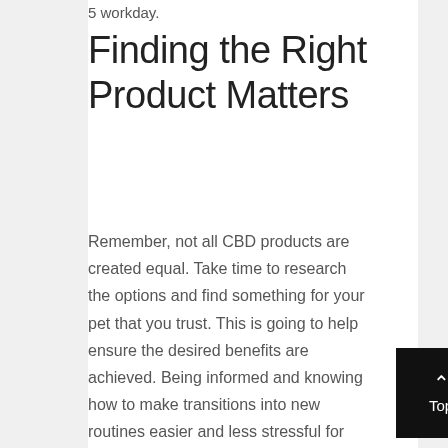5 workday.
Finding the Right Product Matters
Remember, not all CBD products are created equal. Take time to research the options and find something for your pet that you trust. This is going to help ensure the desired benefits are achieved. Being informed and knowing how to make transitions into new routines easier and less stressful for your pets will benefit you and your furry friend.